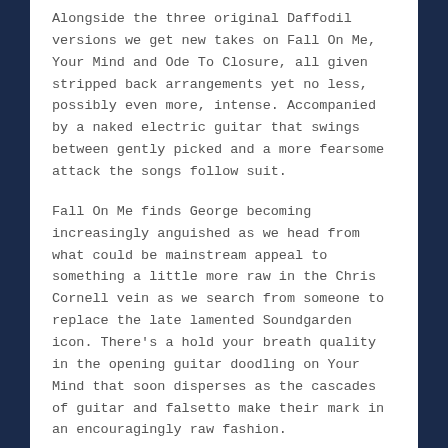Alongside the three original Daffodil versions we get new takes on Fall On Me, Your Mind and Ode To Closure, all given stripped back arrangements yet no less, possibly even more, intense. Accompanied by a naked electric guitar that swings between gently picked and a more fearsome attack the songs follow suit.
Fall On Me finds George becoming increasingly anguished as we head from what could be mainstream appeal to something a little more raw in the Chris Cornell vein as we search from someone to replace the late lamented Soundgarden icon. There's a hold your breath quality in the opening guitar doodling on Your Mind that soon disperses as the cascades of guitar and falsetto make their mark in an encouragingly raw fashion.
The opening guitar noodling on Ode To Closure is